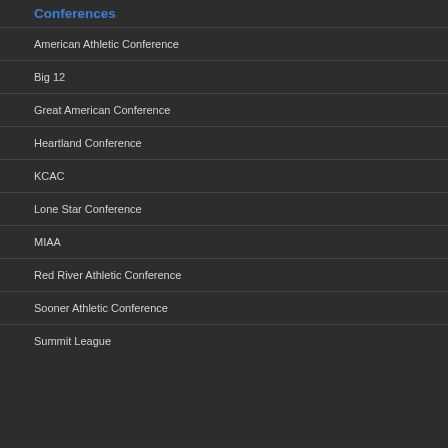Conferences
American Athletic Conference
Big 12
Great American Conference
Heartland Conference
KCAC
Lone Star Conference
MIAA
Red River Athletic Conference
Sooner Athletic Conference
Summit League